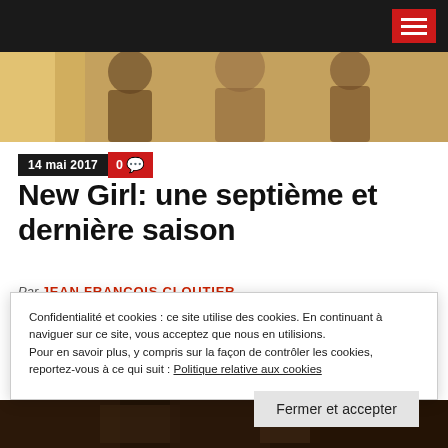Navigation bar with hamburger menu icon
[Figure (photo): Hero image showing people, partially visible at top of page]
14 mai 2017  0  [comment icon]
New Girl: une septième et dernière saison
Par JEAN FRANCOIS CLOUTIER
La sitcom New Girl a été renouvelée par Fox pour une septième saison, qui sera la dernière de l'émission, a...
Confidentialité et cookies : ce site utilise des cookies. En continuant à naviguer sur ce site, vous acceptez que nous en utilisions. Pour en savoir plus, y compris sur la façon de contrôler les cookies, reportez-vous à ce qui suit : Politique relative aux cookies
Fermer et accepter
[Figure (photo): Bottom image strip showing a dark scene]